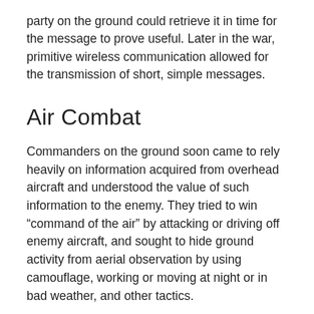party on the ground could retrieve it in time for the message to prove useful. Later in the war, primitive wireless communication allowed for the transmission of short, simple messages.
Air Combat
Commanders on the ground soon came to rely heavily on information acquired from overhead aircraft and understood the value of such information to the enemy. They tried to win “command of the air” by attacking or driving off enemy aircraft, and sought to hide ground activity from aerial observation by using camouflage, working or moving at night or in bad weather, and other tactics.
Because intelligence-gathering aircraft had to fly